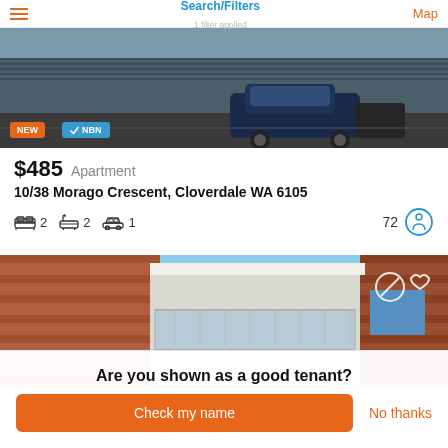Search/Filters | 1 filter applied | Map
[Figure (photo): Apartment building carpark with SUV/car parked, dark tones. Badges: NEW (orange), NBN (blue with checkmark)]
$485  Apartment
10/38 Morago Crescent, Cloverdale WA 6105
Bed 2  Bath 2  Car 1  72
[Figure (photo): Modern apartment building exterior with brick facade, glass balconies, blue sky background. Icons: crossed-circle and heart (white outline).]
Are you shown as a good tenant?
Check my name | No thanks